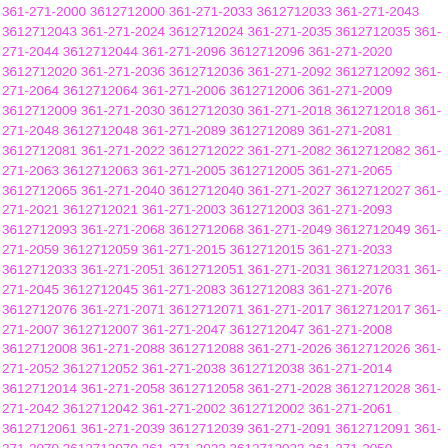361-271-2000 3612712000 361-271-2033 3612712033 361-271-2043 3612712043 361-271-2024 3612712024 361-271-2035 3612712035 361-271-2044 3612712044 361-271-2096 3612712096 361-271-2020 3612712020 361-271-2036 3612712036 361-271-2092 3612712092 361-271-2064 3612712064 361-271-2006 3612712006 361-271-2009 3612712009 361-271-2030 3612712030 361-271-2018 3612712018 361-271-2048 3612712048 361-271-2089 3612712089 361-271-2081 3612712081 361-271-2022 3612712022 361-271-2082 3612712082 361-271-2063 3612712063 361-271-2005 3612712005 361-271-2065 3612712065 361-271-2040 3612712040 361-271-2027 3612712027 361-271-2021 3612712021 361-271-2003 3612712003 361-271-2093 3612712093 361-271-2068 3612712068 361-271-2049 3612712049 361-271-2059 3612712059 361-271-2015 3612712015 361-271-2033 3612712033 361-271-2051 3612712051 361-271-2031 3612712031 361-271-2045 3612712045 361-271-2083 3612712083 361-271-2076 3612712076 361-271-2071 3612712071 361-271-2017 3612712017 361-271-2007 3612712007 361-271-2047 3612712047 361-271-2008 3612712008 361-271-2088 3612712088 361-271-2026 3612712026 361-271-2052 3612712052 361-271-2038 3612712038 361-271-2014 3612712014 361-271-2058 3612712058 361-271-2028 3612712028 361-271-2042 3612712042 361-271-2002 3612712002 361-271-2061 3612712061 361-271-2039 3612712039 361-271-2091 3612712091 361-271-2070 3612712070 361-271-2023 3612712023 361-271-2050 3612712050 361-271-2072 3612712072 361-271-2060 3612712060 361-271-2090 3612712090 361-271-2025 3612712025 361-271-2066 3612712066 361-271-2074 3612712074 361-271-2098 3612712098